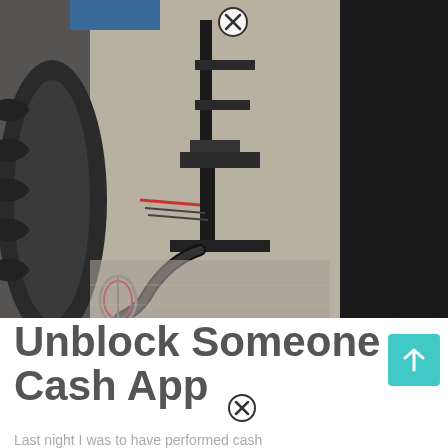[Figure (photo): Close-up photo of a car jack and undercarriage area, with a Miami Heat branded strap and carabiner on the ground. A close-up close button (X circle) is visible at top center of the image.]
Unblock Someone Cash App
[Figure (other): Teal/cyan square button with white upward arrow icon]
Last night I was to have performed cash